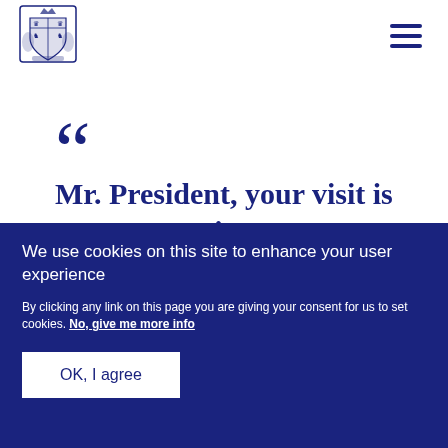[Figure (logo): UK Royal Coat of Arms logo in dark blue]
“
Mr. President, your visit is an opportunity to
We use cookies on this site to enhance your user experience
By clicking any link on this page you are giving your consent for us to set cookies. No, give me more info
OK, I agree